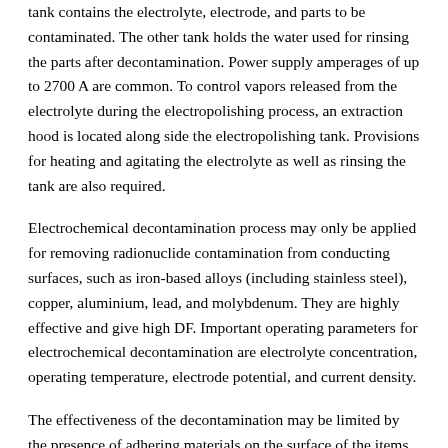tank contains the electrolyte, electrode, and parts to be contaminated. The other tank holds the water used for rinsing the parts after decontamination. Power supply amperages of up to 2700 A are common. To control vapors released from the electrolyte during the electropolishing process, an extraction hood is located along side the electropolishing tank. Provisions for heating and agitating the electrolyte as well as rinsing the tank are also required.
Electrochemical decontamination process may only be applied for removing radionuclide contamination from conducting surfaces, such as iron-based alloys (including stainless steel), copper, aluminium, lead, and molybdenum. They are highly effective and give high DF. Important operating parameters for electrochemical decontamination are electrolyte concentration, operating temperature, electrode potential, and current density.
The effectiveness of the decontamination may be limited by the presence of adhering materials on the surface of the items to be decontaminated. Materials such as oil, grease, oxide (rust) and paint, or other coatings should be removed before decontamination. The use of electrochemical decontamination is limited
when immersion is used, by the size of the bath and